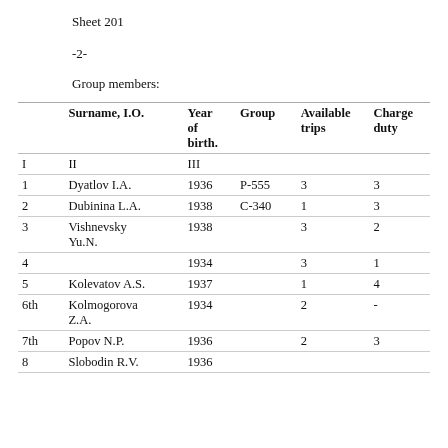Sheet 201
-2-
Group members:
|  | Surname, I.O. | Year of birth. | Group | Available trips | Charge duty |
| --- | --- | --- | --- | --- | --- |
| I | II | III |  |  |  |
| 1 | Dyatlov I.A. | 1936 | P-555 | 3 | 3 |
| 2 | Dubinina L.A. | 1938 | C-340 | 1 | 3 |
| 3 | Vishnevsky Yu.N. | 1938 |  | 3 | 2 |
| 4 |  | 1934 |  | 3 | 1 |
| 5 | Kolevatov A.S. | 1937 |  | 1 | 4 |
| 6th | Kolmogorova Z.A. | 1934 |  | 2 | - |
| 7th | Popov N.P. | 1936 |  | 2 | 3 |
| 8 | Slobodin R.V. | 1936 |  |  |  |